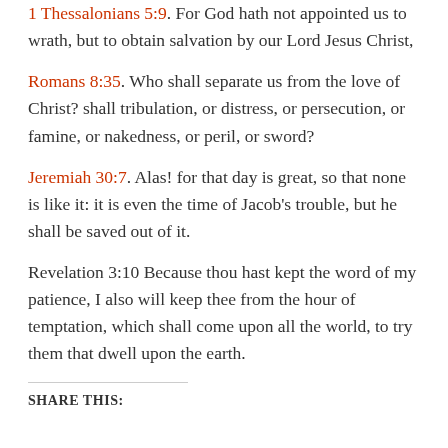1 Thessalonians 5:9. For God hath not appointed us to wrath, but to obtain salvation by our Lord Jesus Christ,
Romans 8:35. Who shall separate us from the love of Christ? shall tribulation, or distress, or persecution, or famine, or nakedness, or peril, or sword?
Jeremiah 30:7. Alas! for that day is great, so that none is like it: it is even the time of Jacob's trouble, but he shall be saved out of it.
Revelation 3:10 Because thou hast kept the word of my patience, I also will keep thee from the hour of temptation, which shall come upon all the world, to try them that dwell upon the earth.
SHARE THIS: